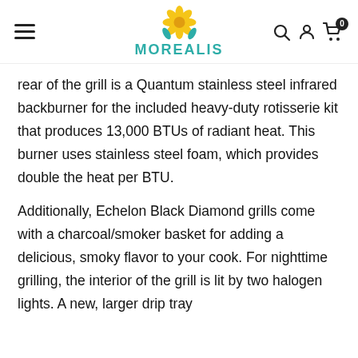MOREALIS
rear of the grill is a Quantum stainless steel infrared backburner for the included heavy-duty rotisserie kit that produces 13,000 BTUs of radiant heat. This burner uses stainless steel foam, which provides double the heat per BTU.
Additionally, Echelon Black Diamond grills come with a charcoal/smoker basket for adding a delicious, smoky flavor to your cook. For nighttime grilling, the interior of the grill is lit by two halogen lights. A new, larger drip tray